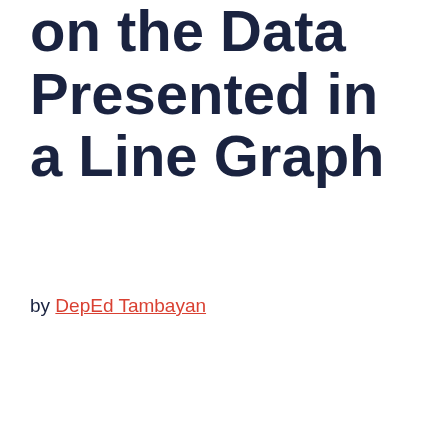on the Data Presented in a Line Graph
by DepEd Tambayan